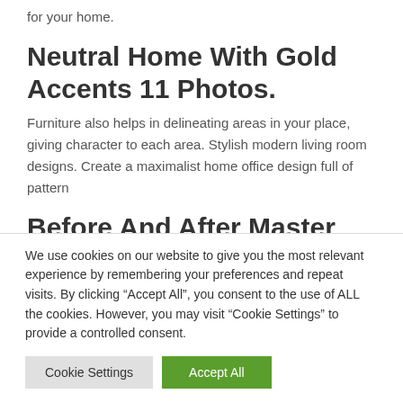for your home.
Neutral Home With Gold Accents 11 Photos.
Furniture also helps in delineating areas in your place, giving character to each area. Stylish modern living room designs. Create a maximalist home office design full of pattern
Before And After Master Bathroom Remodel.
We use cookies on our website to give you the most relevant experience by remembering your preferences and repeat visits. By clicking “Accept All”, you consent to the use of ALL the cookies. However, you may visit “Cookie Settings” to provide a controlled consent.